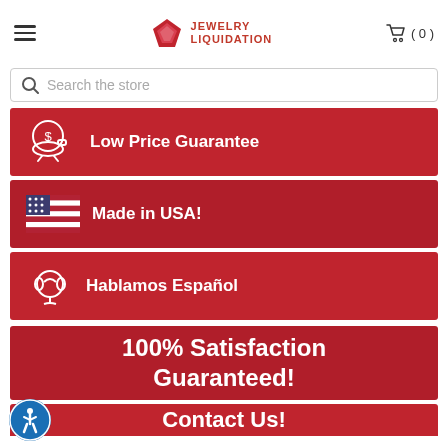Jewelry Liquidation — navigation header with hamburger menu, logo, and cart (0)
Search the store
[Figure (infographic): Red banner with white piggy bank icon and text: Low Price Guarantee]
[Figure (infographic): Red banner with US flag icon and text: Made in USA!]
[Figure (infographic): Red banner with headset icon and text: Hablamos Español]
[Figure (infographic): Large red banner with text: 100% Satisfaction Guaranteed!]
[Figure (infographic): Red banner (partially visible) with text: Contact Us!]
[Figure (logo): Accessibility icon — blue circle with wheelchair figure]